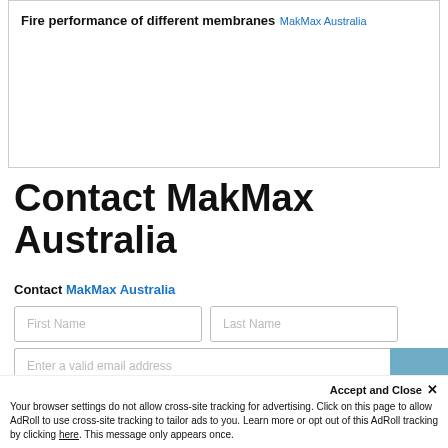Fire performance of different membranes
MakMax Australia
Contact MakMax Australia
Contact MakMax Australia
[Figure (screenshot): Contact form with First Name, Last Name, and email address input fields]
Accept and Close ×
Your browser settings do not allow cross-site tracking for advertising. Click on this page to allow AdRoll to use cross-site tracking to tailor ads to you. Learn more or opt out of this AdRoll tracking by clicking here. This message only appears once.